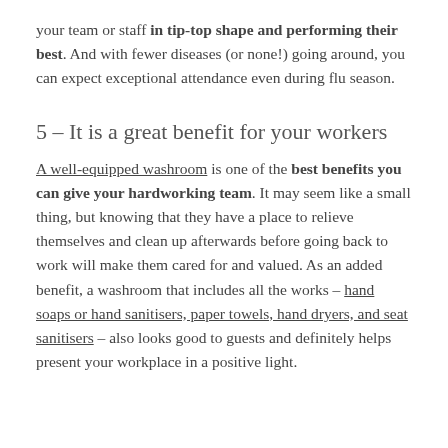your team or staff in tip-top shape and performing their best. And with fewer diseases (or none!) going around, you can expect exceptional attendance even during flu season.
5 – It is a great benefit for your workers
A well-equipped washroom is one of the best benefits you can give your hardworking team. It may seem like a small thing, but knowing that they have a place to relieve themselves and clean up afterwards before going back to work will make them cared for and valued. As an added benefit, a washroom that includes all the works – hand soaps or hand sanitisers, paper towels, hand dryers, and seat sanitisers – also looks good to guests and definitely helps present your workplace in a positive light.